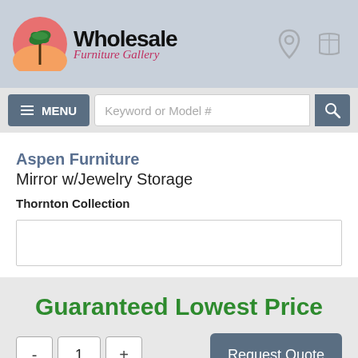[Figure (logo): Wholesale Furniture Gallery logo with palm tree circle icon and stylized text]
Keyword or Model #
Aspen Furniture
Mirror w/Jewelry Storage
Thornton Collection
Guaranteed Lowest Price
- 1 +  Request Quote